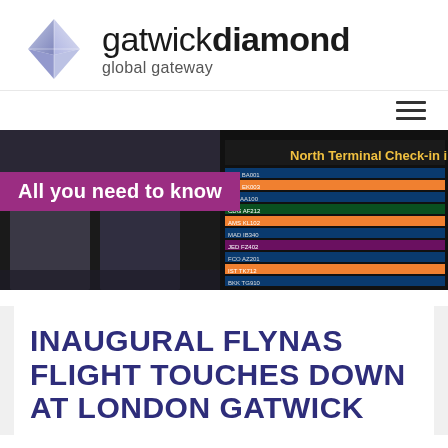[Figure (logo): Gatwick Diamond logo with diamond shape icon and text 'gatwickdiamond global gateway']
[Figure (photo): Airport departures board showing North Terminal Check-in information at London Gatwick airport]
All you need to know
INAUGURAL FLYNAS FLIGHT TOUCHES DOWN AT LONDON GATWICK